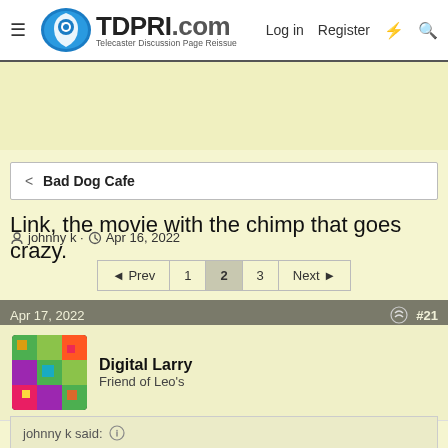TDPRI.com - Telecaster Discussion Page Reissue | Log in | Register
[Figure (logo): TDPRI.com logo with stylized guitar pick icon and tagline 'Telecaster Discussion Page Reissue']
< Bad Dog Cafe
Link, the movie with the chimp that goes crazy.
johnny k · Apr 16, 2022
◄ Prev  1  2  3  Next ►
Apr 17, 2022  #21
Digital Larry
Friend of Leo's
johnny k said: ↑
who lashes out against his masters when they try to have him